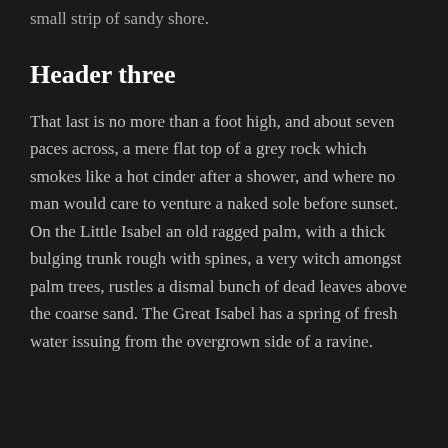small strip of sandy shore.
Header three
That last is no more than a foot high, and about seven paces across, a mere flat top of a grey rock which smokes like a hot cinder after a shower, and where no man would care to venture a naked sole before sunset. On the Little Isabel an old ragged palm, with a thick bulging trunk rough with spines, a very witch amongst palm trees, rustles a dismal bunch of dead leaves above the coarse sand. The Great Isabel has a spring of fresh water issuing from the overgrown side of a ravine.